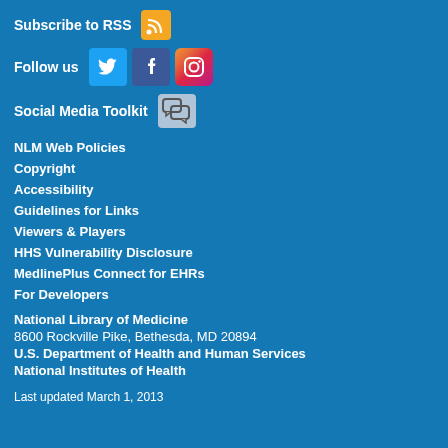Subscribe to RSS
[Figure (infographic): RSS orange icon, Twitter blue icon, Facebook dark-blue icon, Instagram gradient icon, Social Media Toolkit chat icon]
Follow us
Social Media Toolkit
NLM Web Policies
Copyright
Accessibility
Guidelines for Links
Viewers & Players
HHS Vulnerability Disclosure
MedlinePlus Connect for EHRs
For Developers
National Library of Medicine
8600 Rockville Pike, Bethesda, MD 20894
U.S. Department of Health and Human Services
National Institutes of Health
Last updated March 1, 2013